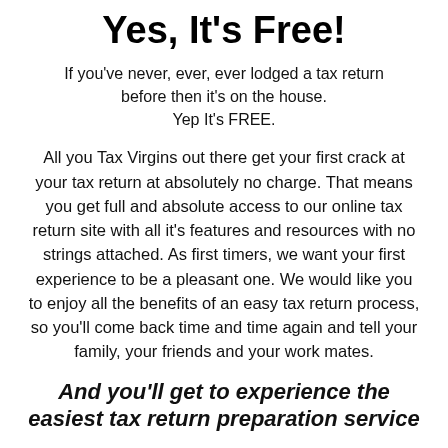Yes, It's Free!
If you've never, ever, ever lodged a tax return before then it's on the house. Yep It's FREE.
All you Tax Virgins out there get your first crack at your tax return at absolutely no charge. That means you get full and absolute access to our online tax return site with all it's features and resources with no strings attached. As first timers, we want your first experience to be a pleasant one. We would like you to enjoy all the benefits of an easy tax return process, so you'll come back time and time again and tell your family, your friends and your work mates.
And you'll get to experience the easiest tax return preparation service